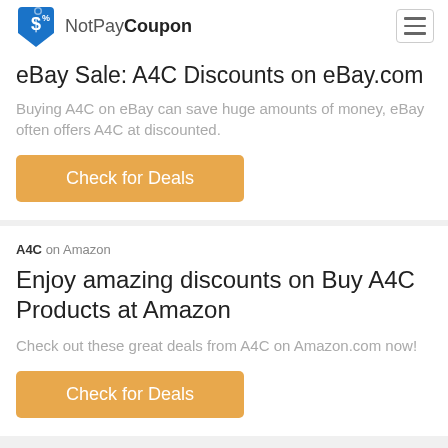NotPayCoupon
eBay Sale: A4C Discounts on eBay.com
Buying A4C on eBay can save huge amounts of money, eBay often offers A4C at discounted.
Check for Deals
A4C on Amazon
Enjoy amazing discounts on Buy A4C Products at Amazon
Check out these great deals from A4C on Amazon.com now!
Check for Deals